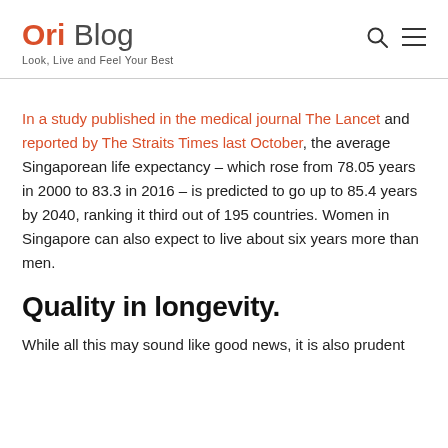Ori Blog — Look, Live and Feel Your Best
In a study published in the medical journal The Lancet and reported by The Straits Times last October, the average Singaporean life expectancy – which rose from 78.05 years in 2000 to 83.3 in 2016 – is predicted to go up to 85.4 years by 2040, ranking it third out of 195 countries. Women in Singapore can also expect to live about six years more than men.
Quality in longevity.
While all this may sound like good news, it is also prudent